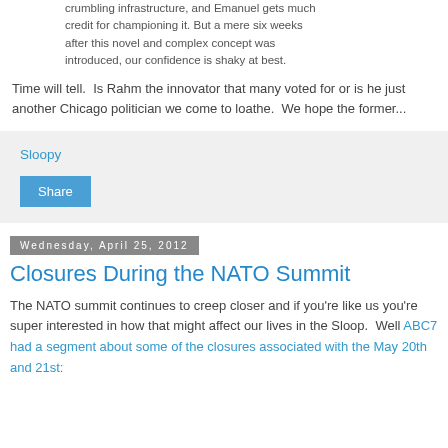crumbling infrastructure, and Emanuel gets much credit for championing it. But a mere six weeks after this novel and complex concept was introduced, our confidence is shaky at best.
Time will tell.  Is Rahm the innovator that many voted for or is he just another Chicago politician we come to loathe.  We hope the former...
Sloopy
Share
Wednesday, April 25, 2012
Closures During the NATO Summit
The NATO summit continues to creep closer and if you're like us you're super interested in how that might affect our lives in the Sloop.  Well ABC7 had a segment about some of the closures associated with the May 20th and 21st: